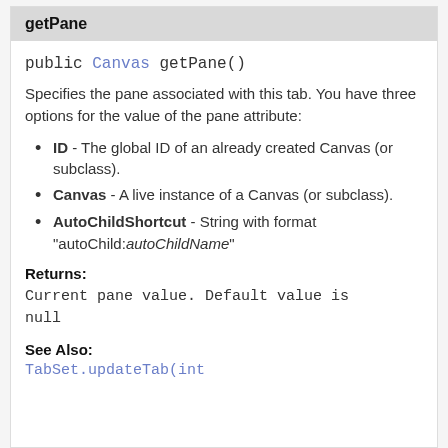getPane
public Canvas getPane()
Specifies the pane associated with this tab. You have three options for the value of the pane attribute:
ID - The global ID of an already created Canvas (or subclass).
Canvas - A live instance of a Canvas (or subclass).
AutoChildShortcut - String with format "autoChild:autoChildName"
Returns:
Current pane value. Default value is null
See Also:
TabSet.updateTab(int